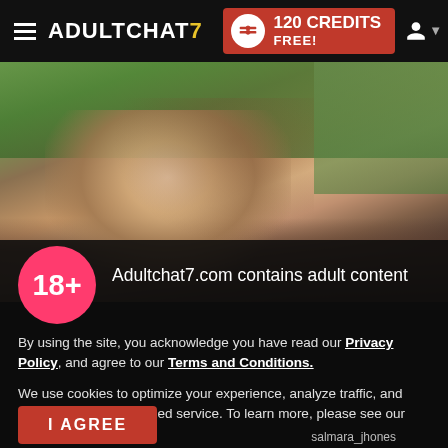ADULTCHAT7 — 120 CREDITS FREE!
[Figure (photo): Woman with tattoos posing outdoors on grass]
Adultchat7.com contains adult content
By using the site, you acknowledge you have read our Privacy Policy, and agree to our Terms and Conditions.
We use cookies to optimize your experience, analyze traffic, and deliver more personalized service. To learn more, please see our Privacy Policy.